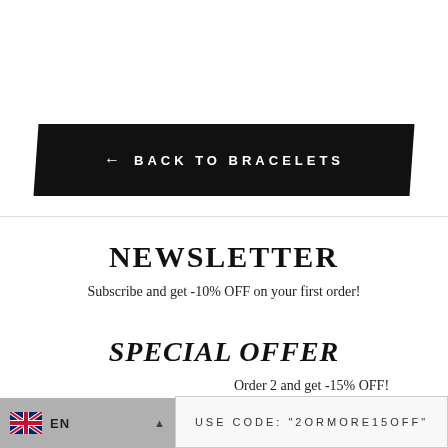← BACK TO BRACELETS
NEWSLETTER
Subscribe and get -10% OFF on your first order!
SPECIAL OFFER
Order 2 and get -15% OFF!
EN
USE CODE: "2ORMORE15OFF"